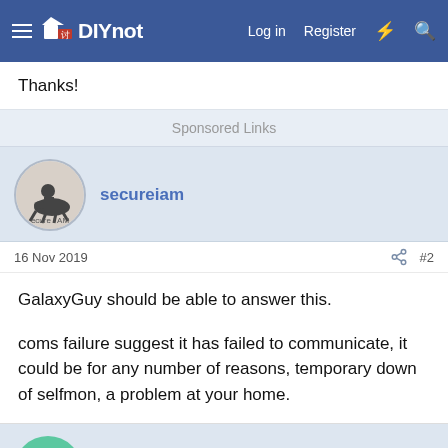DIYnot — Log in  Register
Thanks!
Sponsored Links
secureiam
16 Nov 2019  #2
GalaxyGuy should be able to answer this.

coms failure suggest it has failed to communicate, it could be for any number of reasons, temporary down of selfmon, a problem at your home.
GalaxyGuy